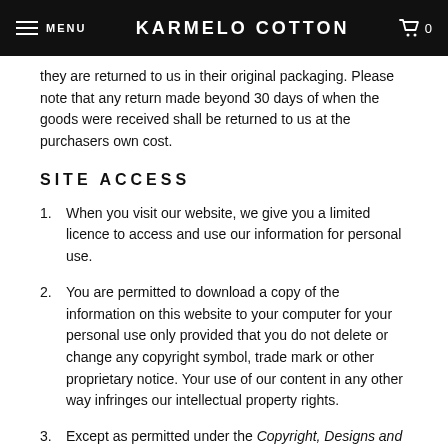MENU | KARMELO COTTON | 0
they are returned to us in their original packaging. Please note that any return made beyond 30 days of when the goods were received shall be returned to us at the purchasers own cost.
SITE ACCESS
When you visit our website, we give you a limited licence to access and use our information for personal use.
You are permitted to download a copy of the information on this website to your computer for your personal use only provided that you do not delete or change any copyright symbol, trade mark or other proprietary notice. Your use of our content in any other way infringes our intellectual property rights.
Except as permitted under the Copyright, Designs and PatentsAct 1988, you are not permitted to copy, reproduce, republish, distribute or display any of the information on